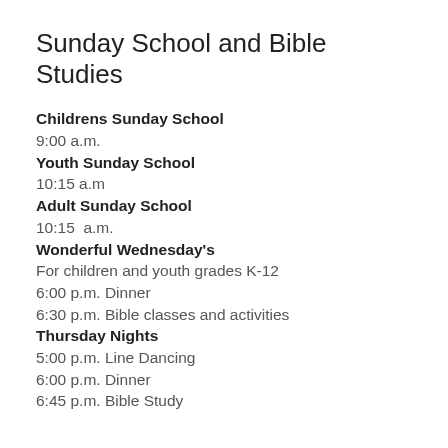Sunday School and Bible Studies
Childrens Sunday School
9:00 a.m.
Youth Sunday School
10:15 a.m
Adult Sunday School
10:15  a.m.
Wonderful Wednesday's
For children and youth grades K-12
6:00 p.m. Dinner
6:30 p.m. Bible classes and activities
Thursday Nights
5:00 p.m. Line Dancing
6:00 p.m. Dinner
6:45 p.m. Bible Study